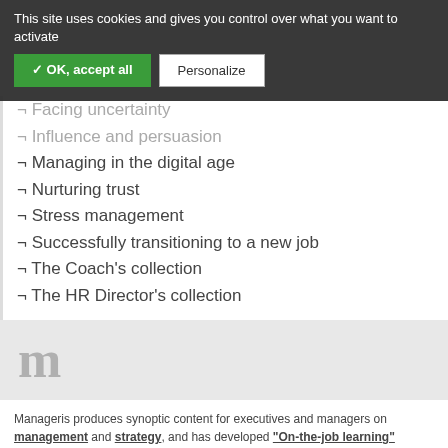This site uses cookies and gives you control over what you want to activate
¬ Facing uncertainty
¬ Influence and persuasion
¬ Managing in the digital age
¬ Nurturing trust
¬ Stress management
¬ Successfully transitioning to a new job
¬ The Coach's collection
¬ The HR Director's collection
[Figure (logo): Manageris logo with large M initial]
Manageris produces synoptic content for executives and managers on management and strategy, and has developed "On-the-job learning" solutions intended to change managerial behavior and reinforce the quality of leadership.